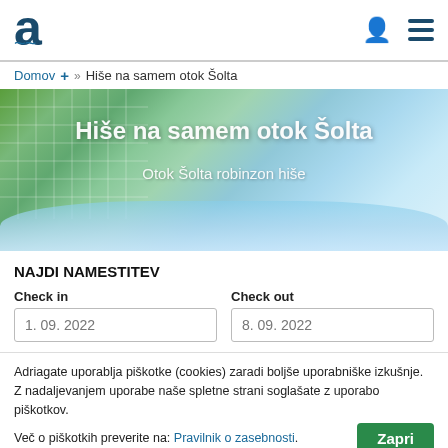Adriagate logo and navigation
Domov + » Hiše na samem otok Šolta
[Figure (photo): Hero banner with mosaic/nature background showing text: Hiše na samem otok Šolta and subtitle Otok Šolta robinzon hiše]
NAJDI NAMESTITEV
Check in: 1. 09. 2022
Check out: 8. 09. 2022
Adriagate uporablja piškotke (cookies) zaradi boljše uporabniške izkušnje. Z nadaljevanjem uporabe naše spletne strani soglašate z uporabo piškotkov. Več o piškotkih preverite na: Pravilnik o zasebnosti.